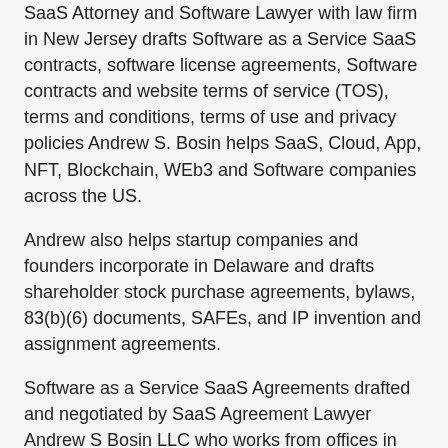SaaS Attorney and Software Lawyer with law firm in New Jersey drafts Software as a Service SaaS contracts, software license agreements, Software contracts and website terms of service (TOS), terms and conditions, terms of use and privacy policies Andrew S. Bosin helps SaaS, Cloud, App, NFT, Blockchain, WEb3 and Software companies across the US.
Andrew also helps startup companies and founders incorporate in Delaware and drafts shareholder stock purchase agreements, bylaws, 83(b)(6) documents, SAFEs, and IP invention and assignment agreements.
Software as a Service SaaS Agreements drafted and negotiated by SaaS Agreement Lawyer Andrew S Bosin LLC who works from offices in New Jersey right outside of New York City.
Andrew helps SaaS companies, vendors, startups, providers, resellers, licensees, customers and end-users located in Austin, Dallas, Texas, Philadelphia,